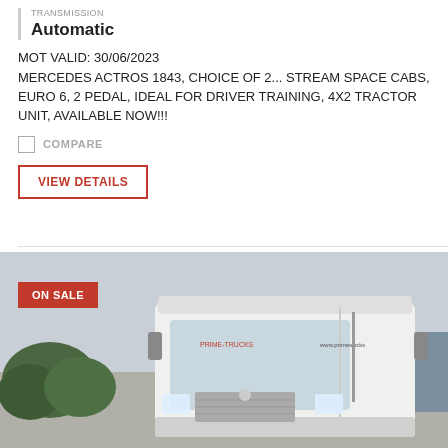TRANSMISSION
Automatic
MOT VALID: 30/06/2023
MERCEDES ACTROS 1843, CHOICE OF 2... STREAM SPACE CABS, EURO 6, 2 PEDAL, IDEAL FOR DRIVER TRAINING, 4X2 TRACTOR UNIT, AVAILABLE NOW!!!
COMPARE
VIEW DETAILS
[Figure (photo): White Mercedes Actros truck cab photographed from the side, with trees and buildings visible in the background. A red 'ON SALE' badge is overlaid on the upper-left of the image.]